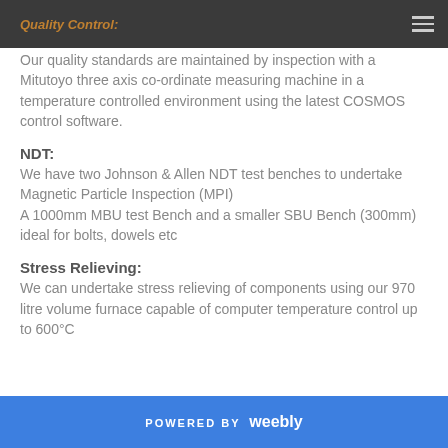Quality Control:
Our quality standards are maintained by inspection with a Mitutoyo three axis co-ordinate measuring machine in a temperature controlled environment using the latest COSMOS control software.
NDT:
We have two Johnson & Allen NDT test benches to undertake Magnetic Particle Inspection (MPI)
A 1000mm MBU test Bench and a smaller SBU Bench (300mm) ideal for bolts, dowels etc
Stress Relieving:
We can undertake stress relieving of components using our 970 litre volume furnace capable of computer temperature control up to 600°C
POWERED BY weebly